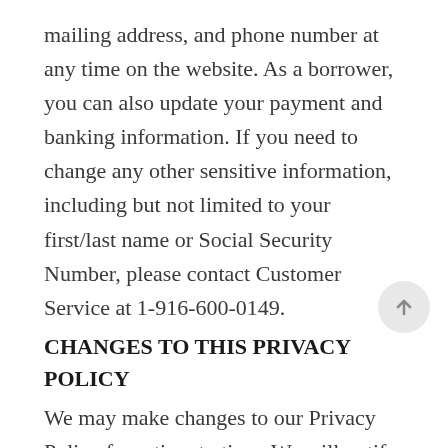mailing address, and phone number at any time on the website. As a borrower, you can also update your payment and banking information. If you need to change any other sensitive information, including but not limited to your first/last name or Social Security Number, please contact Customer Service at 1-916-600-0149.
CHANGES TO THIS PRIVACY POLICY
We may make changes to our Privacy Policy from time to time. We will notify you of any material changes by posting the new Privacy